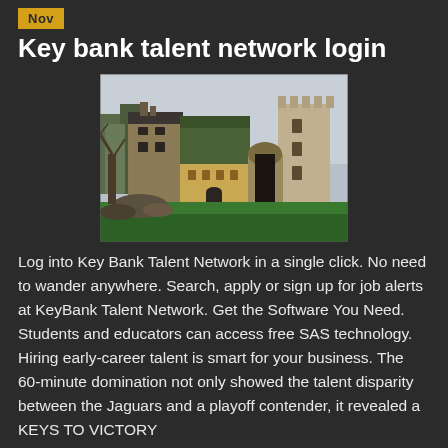Nov
Key bank talent network login
[Figure (photo): Photograph of a historic stone and yellow-rendered building complex with a round crenellated tower, surrounded by green lawn and bare trees, resembling a medieval manor or castle.]
Log into Key Bank Talent Network in a single click. No need to wander anywhere. Search, apply or sign up for job alerts at KeyBank Talent Network. Get the Software You Need. Students and educators can access free SAS technology. Hiring early-career talent is smart for your business. The 60-minute domination not only showed the talent disparity between the Jaguars and a playoff contender, it revealed a KEYS TO VICTORY